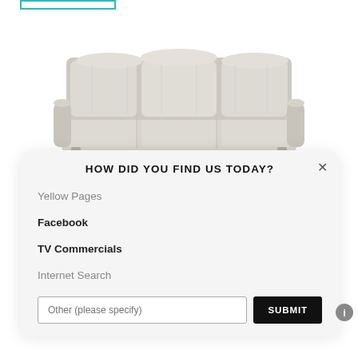[Figure (photo): A light grey/beige three-seat recliner sofa with tufted back cushions, viewed from a slight angle, on a white background.]
HOW DID YOU FIND US TODAY?
Yellow Pages
Facebook
TV Commercials
Internet Search
Other (please specify)
SUBMIT